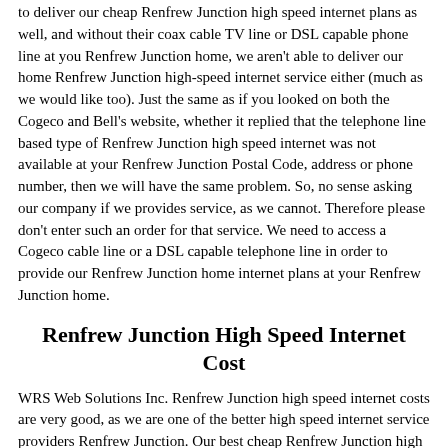to deliver our cheap Renfrew Junction high speed internet plans as well, and without their coax cable TV line or DSL capable phone line at you Renfrew Junction home, we aren't able to deliver our home Renfrew Junction high-speed internet service either (much as we would like too). Just the same as if you looked on both the Cogeco and Bell's website, whether it replied that the telephone line based type of Renfrew Junction high speed internet was not available at your Renfrew Junction Postal Code, address or phone number, then we will have the same problem. So, no sense asking our company if we provides service, as we cannot. Therefore please don't enter such an order for that service. We need to access a Cogeco cable line or a DSL capable telephone line in order to provide our Renfrew Junction home internet plans at your Renfrew Junction home.
Renfrew Junction High Speed Internet Cost
WRS Web Solutions Inc. Renfrew Junction high speed internet costs are very good, as we are one of the better high speed internet service providers Renfrew Junction. Our best cheap Renfrew Junction high speed internet packages are invoiced from 'date of order' not from date of set up or activation. In the event you decide at a later date to change your internet service with us, then a small